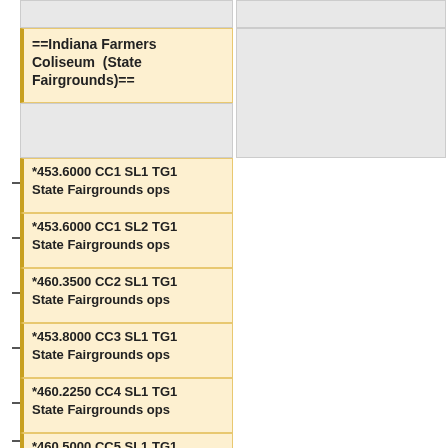==Indiana Farmers Coliseum (State Fairgrounds)==
*453.6000 CC1 SL1 TG1 State Fairgrounds ops
*453.6000 CC1 SL2 TG1 State Fairgrounds ops
*460.3500 CC2 SL1 TG1 State Fairgrounds ops
*453.8000 CC3 SL1 TG1 State Fairgrounds ops
*460.2250 CC4 SL1 TG1 State Fairgrounds ops
*460.5000 CC5 SL1 TG1 State Fairgrounds ops